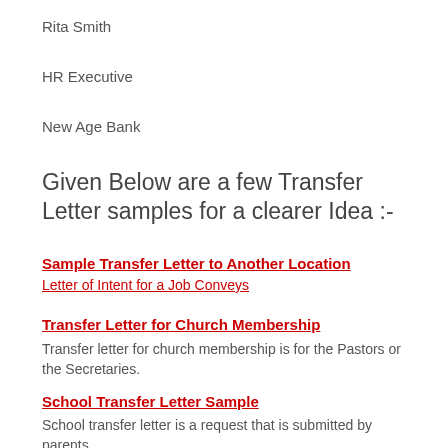Rita Smith
HR Executive
New Age Bank
Given Below are a few Transfer Letter samples for a clearer Idea :-
Sample Transfer Letter to Another Location
Letter of Intent for a Job Conveys
Transfer Letter for Church Membership
Transfer letter for church membership is for the Pastors or the Secretaries.
School Transfer Letter Sample
School transfer letter is a request that is submitted by parents.